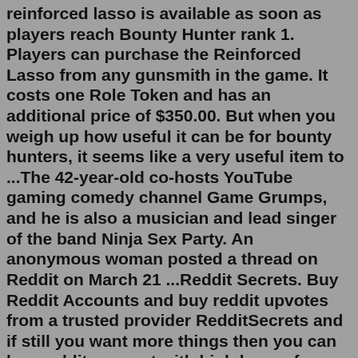reinforced lasso is available as soon as players reach Bounty Hunter rank 1. Players can purchase the Reinforced Lasso from any gunsmith in the game. It costs one Role Token and has an additional price of $350.00. But when you weigh up how useful it can be for bounty hunters, it seems like a very useful item to ...The 42-year-old co-hosts YouTube gaming comedy channel Game Grumps, and he is also a musician and lead singer of the band Ninja Sex Party. An anonymous woman posted a thread on Reddit on March 21 ...Reddit Secrets. Buy Reddit Accounts and buy reddit upvotes from a trusted provider RedditSecrets and if still you want more things then you can buy reddit account with high karma from us. 228 Park Ave. South, New York City, NY 10003 · USA; 1 (716) 320-1388; Arif.arif504In general, I find that the 5% of my watchtime which is YouTube Red drives 15% of my revenue, so a red user is worth ~3x as much to me as a non-red user. Each creator's experience will vary. 5 level 2 November_Juliet_Film Op · 4y I have no idea if it does, my analytics show a